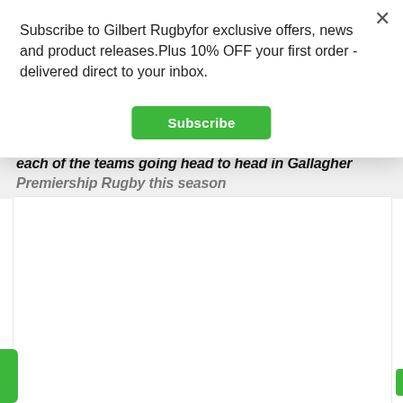Subscribe to Gilbert Rugbyfor exclusive offers, news and product releases.Plus 10% OFF your first order - delivered direct to your inbox.
Subscribe
each of the teams going head to head in Gallagher
Premiership Rugby this season